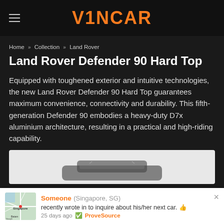V1NCAR
Home » Collection » Land Rover
Land Rover Defender 90 Hard Top
Equipped with toughened exterior and intuitive technologies, the new Land Rover Defender 90 Hard Top guarantees maximum convenience, connectivity and durability. This fifth-generation Defender 90 embodies a heavy-duty D7x aluminium architecture, resulting in a practical and high-riding capability.
[Figure (photo): Partial front view of a white/light-colored Land Rover Defender 90 Hard Top vehicle against a light background]
Someone (Singapore, SG) recently wrote in to inquire about his/her next car. 👍 25 days ago ✅ ProveSource